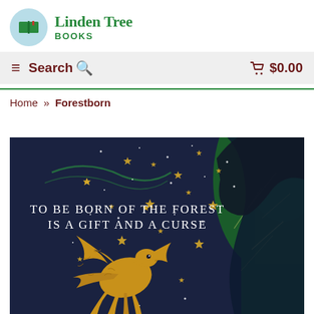[Figure (logo): Linden Tree Books logo: circular light blue badge with open book icon (green covers, red bookmark), beside text 'Linden Tree' in green serif font and 'BOOKS' in green sans-serif caps]
≡ Search 🔍   🛒 $0.00
Home » Forestborn
[Figure (photo): Book cover for 'Forestborn': Dark navy night sky background filled with gold eight-pointed stars and white dots. Text reads 'TO BE BORN OF THE FOREST IS A GIFT AND A CURSE' in white serif font. A large golden phoenix/eagle with spread wings is depicted in the lower left. On the right side, a dark silhouette of a woman's profile with flowing dark hair, and green foliage/branches visible in the upper right corner.]